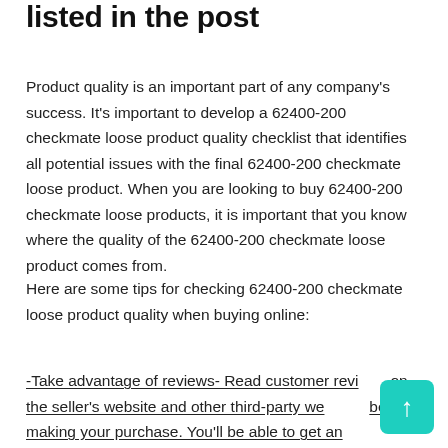listed in the post
Product quality is an important part of any company's success. It's important to develop a 62400-200 checkmate loose product quality checklist that identifies all potential issues with the final 62400-200 checkmate loose product. When you are looking to buy 62400-200 checkmate loose products, it is important that you know where the quality of the 62400-200 checkmate loose product comes from.
Here are some tips for checking 62400-200 checkmate loose product quality when buying online:
-Take advantage of reviews- Read customer reviews on the seller's website and other third-party websites before making your purchase. You'll be able to get an